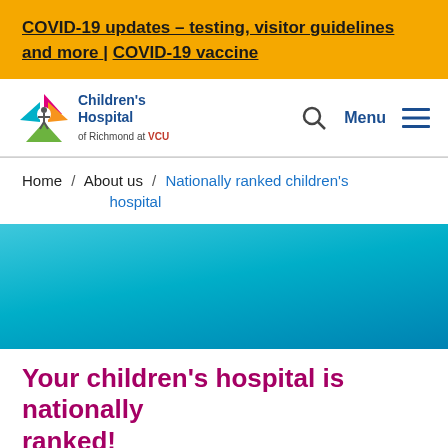COVID-19 updates – testing, visitor guidelines and more | COVID-19 vaccine
[Figure (logo): Children's Hospital of Richmond at VCU logo with colorful star/person icon]
Home / About us / Nationally ranked children's hospital
[Figure (photo): Blue gradient hero image background for nationally ranked children's hospital page]
Your children's hospital is nationally ranked!